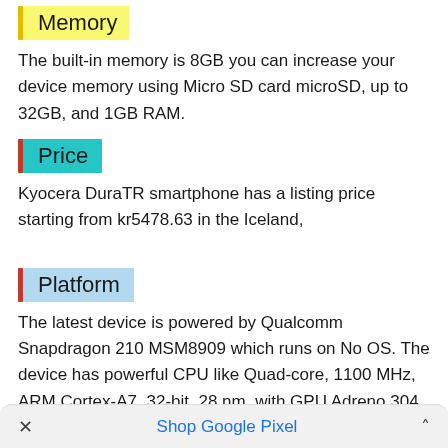Memory
The built-in memory is 8GB you can increase your device memory using Micro SD card microSD, up to 32GB, and 1GB RAM.
Price
Kyocera DuraTR smartphone has a listing price starting from kr5478.63 in the Iceland,
Platform
The latest device is powered by Qualcomm Snapdragon 210 MSM8909 which runs on No OS. The device has powerful CPU like Quad-core, 1100 MHz, ARM Cortex-A7, 32-bit, 28 nm, with GPU Adreno 304 is also awesome for navigation.
× Shop Google Pixel ^